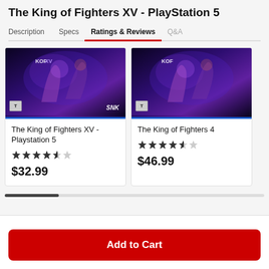The King of Fighters XV - PlayStation 5
Description | Specs | Ratings & Reviews | Q&A
[Figure (screenshot): Product card for The King of Fighters XV - Playstation 5 showing game cover art with SNK branding and blue border, rating 4.5 stars, price $32.99]
The King of Fighters XV - Playstation 5
$32.99
[Figure (screenshot): Partially visible product card for The King of Fighters 4 showing game cover art with SNK branding and blue border, rating 4.5 stars, price $46.99]
The King of Fighters 4
$46.99
Add to Cart